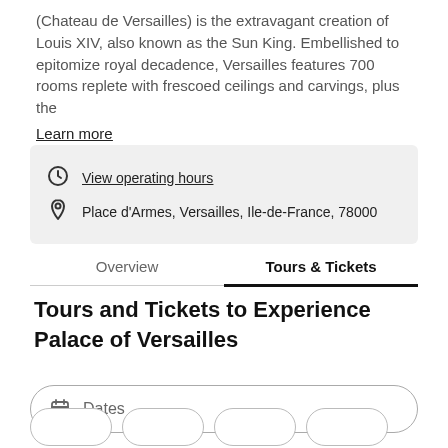(Chateau de Versailles) is the extravagant creation of Louis XIV, also known as the Sun King. Embellished to epitomize royal decadence, Versailles features 700 rooms replete with frescoed ceilings and carvings, plus the Learn more
View operating hours
Place d'Armes, Versailles, Ile-de-France, 78000
Overview | Tours & Tickets
Tours and Tickets to Experience Palace of Versailles
Dates